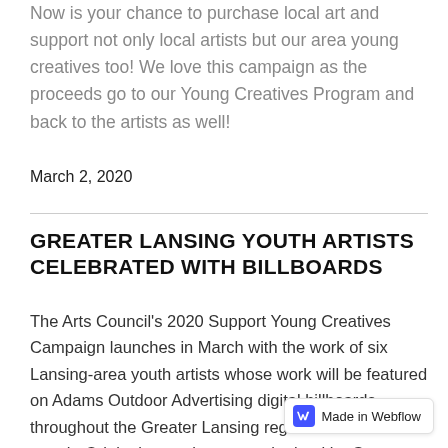Now is your chance to purchase local art and support not only local artists but our area young creatives too! We love this campaign as the proceeds go to our Young Creatives Program and back to the artists as well!
March 2, 2020
GREATER LANSING YOUTH ARTISTS CELEBRATED WITH BILLBOARDS
The Arts Council's 2020 Support Young Creatives Campaign launches in March with the work of six Lansing-area youth artists whose work will be featured on Adams Outdoor Advertising digital billboards throughout the Greater Lansing region for the entire month. Original artworks were submitted by Greater Lansing area teachers and final pieces w...